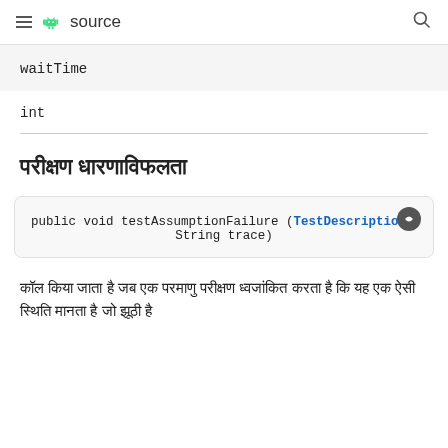≡ 🤖 source 🔍
waitTime
int
परीक्षण धारणाविफलता
public void testAssumptionFailure (TestDescription String trace)
कॉल किया जाता है जब एक परमाणु परीक्षण ध्वजांकित करता है कि यह एक ऐसी स्थिति मानता है जो झूठी है